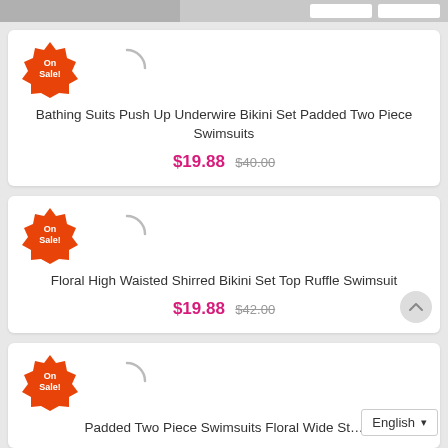[Figure (screenshot): E-commerce product listing page showing three swimsuit products on sale, each with an orange 'On Sale!' badge, a loading spinner image placeholder, product title, sale price in pink, and original crossed-out price.]
Bathing Suits Push Up Underwire Bikini Set Padded Two Piece Swimsuits $19.88 $40.00
Floral High Waisted Shirred Bikini Set Top Ruffle Swimsuit $19.88 $42.00
Padded Two Piece Swimsuits Floral Wide St...